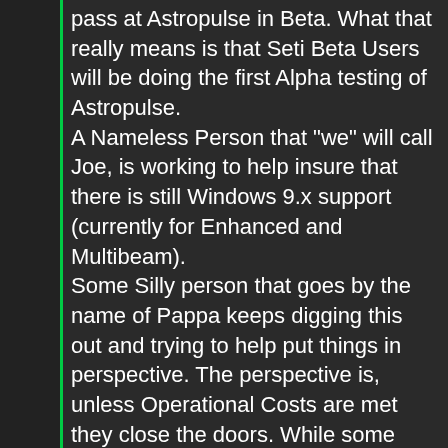pass at Astropulse in Beta. What that really means is that Seti Beta Users will be doing the first Alpha testing of Astropulse. A Nameless Person that "we" will call Joe, is working to help insure that there is still Windows 9.x support (currently for Enhanced and Multibeam). Some Silly person that goes by the name of Pappa keeps digging this out and trying to help put things in perspective. The perspective is, unless Operational Costs are met they close the doors. While some development is still happening (Multibeam) it eats into operational costs.
Overall:
During a difficult time of the year for